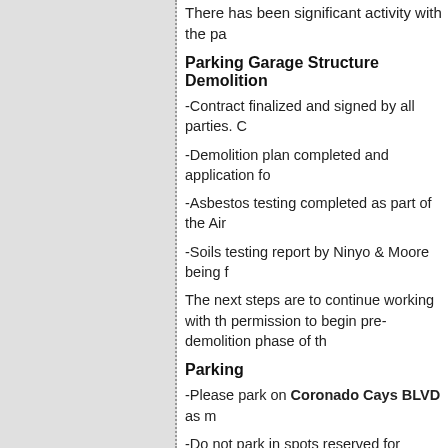There has been significant activity with the pa
Parking Garage Structure Demolition
-Contract finalized and signed by all parties. C
-Demolition plan completed and application fo
-Asbestos testing completed as part of the Air
-Soils testing report by Ninyo & Moore being f
The next steps are to continue working with th permission to begin pre-demolition phase of th
Parking
-Please park on Coronado Cays BLVD as m
-Do not park in spots reserved for specific uni
-If you need to load and unload your vehicle, u loading and unloading only, 24 hours a day/7
-If you're not a CCHOA employee or a contrac This area is needed for CCHOA employees ar
-Contractor Day Use parking spots have beer will need to park on Coronado Cays Blvd until
Rebuild Committee
The Village Director has organized a small gro Village during a future town hall meeting to ge